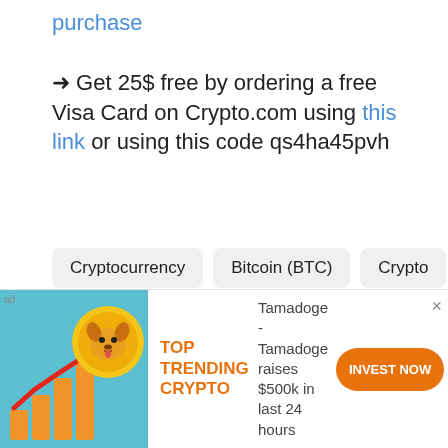purchase
➜ Get 25$ free by ordering a free Visa Card on Crypto.com using this link or using this code qs4ha45pvh
Cryptocurrency
Bitcoin (BTC)
Crypto
Ethereum (ETH)
DeFi
[Figure (other): Ad banner: Tamadoge crypto ad with dog coin illustration, trending crypto promotion, INVEST NOW button. Text: TOP TRENDING CRYPTO | Tamadoge - Tamadoge raises $500k in last 24 hours]